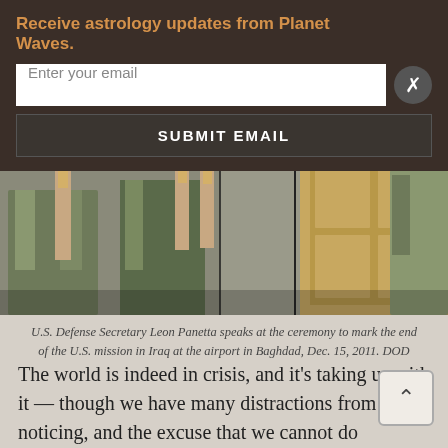Receive astrology updates from Planet Waves.
Enter your email
SUBMIT EMAIL
[Figure (photo): Photo strip showing military personnel holding ceremonial items at a ceremony, with a wooden door panel visible on the right side.]
U.S. Defense Secretary Leon Panetta speaks at the ceremony to mark the end of the U.S. mission in Iraq at the airport in Baghdad, Dec. 15, 2011. DOD photo by Erin A. Kirk-Cuomo.
The world is indeed in crisis, and it’s taking us with it — though we have many distractions from noticing, and the excuse that we cannot do anything about it. But let’s take a quick look around. I heard on Thursday that 97 million